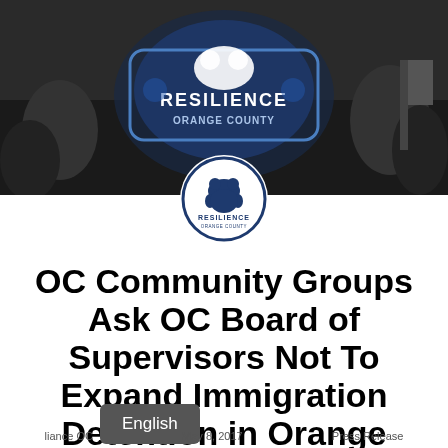[Figure (photo): Dark/grayscale photo banner showing people in a crowd with a 'Resilience Orange County' branded logo sign lit up in blue and white. A secondary circular logo for 'Resilience Orange County' appears overlaid at the bottom center of the photo.]
OC Community Groups Ask OC Board of Supervisors Not To Expand Immigration Detention in Orange County
English
liance OC   May 8, 2017   Press Release